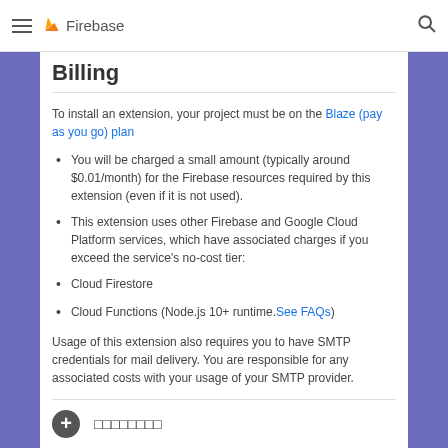Firebase
Billing
To install an extension, your project must be on the Blaze (pay as you go) plan
You will be charged a small amount (typically around $0.01/month) for the Firebase resources required by this extension (even if it is not used).
This extension uses other Firebase and Google Cloud Platform services, which have associated charges if you exceed the service's no-cost tier:
Cloud Firestore
Cloud Functions (Node.js 10+ runtime. See FAQs )
Usage of this extension also requires you to have SMTP credentials for mail delivery. You are responsible for any associated costs with your usage of your SMTP provider.
□□□□□□□□